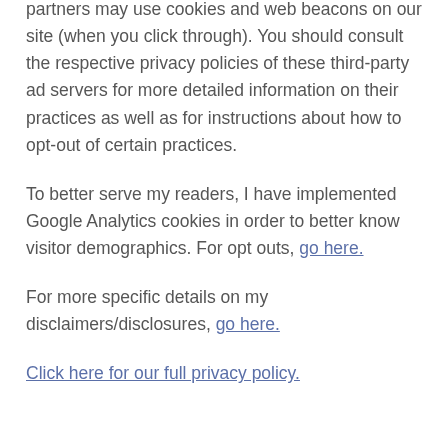partners may use cookies and web beacons on our site (when you click through). You should consult the respective privacy policies of these third-party ad servers for more detailed information on their practices as well as for instructions about how to opt-out of certain practices.
To better serve my readers, I have implemented Google Analytics cookies in order to better know visitor demographics. For opt outs, go here.
For more specific details on my disclaimers/disclosures, go here.
Click here for our full privacy policy.